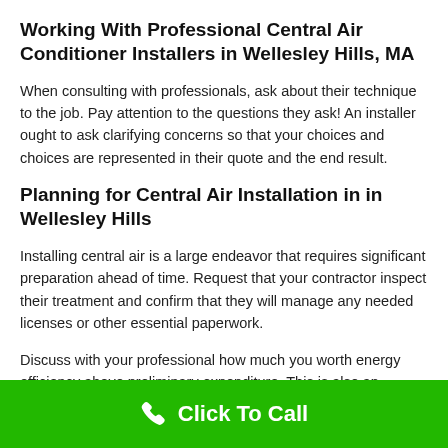Working With Professional Central Air Conditioner Installers in Wellesley Hills, MA
When consulting with professionals, ask about their technique to the job. Pay attention to the questions they ask! An installer ought to ask clarifying concerns so that your choices and choices are represented in their quote and the end result.
Planning for Central Air Installation in in Wellesley Hills
Installing central air is a large endeavor that requires significant preparation ahead of time. Request that your contractor inspect their treatment and confirm that they will manage any needed licenses or other essential paperwork.
Discuss with your professional how much you worth energy efficiency above preliminary expenditure. This is also an outstanding minute to go over the position of the condenser
Click To Call